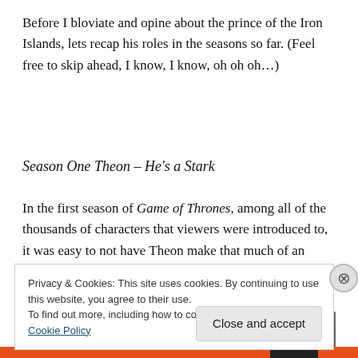Before I bloviate and opine about the prince of the Iron Islands, lets recap his roles in the seasons so far. (Feel free to skip ahead, I know, I know, oh oh oh…)
Season One Theon – He's a Stark
In the first season of Game of Thrones, among all of the thousands of characters that viewers were introduced to, it was easy to not have Theon make that much of an impression.
[Figure (photo): Partial image showing dark/grey tones, partially obscured by cookie banner overlay]
Privacy & Cookies: This site uses cookies. By continuing to use this website, you agree to their use.
To find out more, including how to control cookies, see here: Cookie Policy
Close and accept